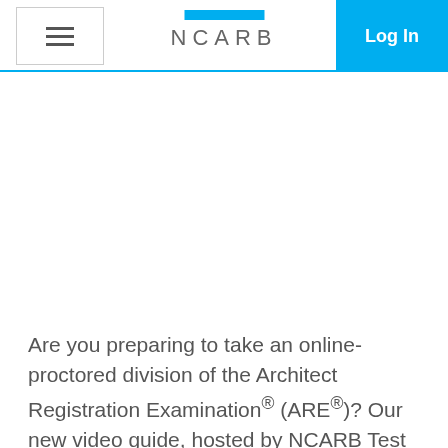NCARB | Log In
Are you preparing to take an online-proctored division of the Architect Registration Examination® (ARE®)? Our new video guide, hosted by NCARB Test Development Coordinator Terrance Gutberlet, has all the information